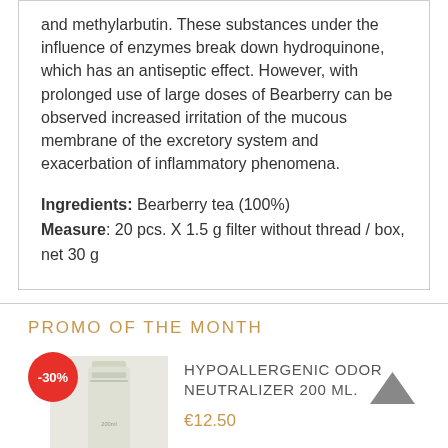and methylarbutin. These substances under the influence of enzymes break down hydroquinone, which has an antiseptic effect. However, with prolonged use of large doses of Bearberry can be observed increased irritation of the mucous membrane of the excretory system and exacerbation of inflammatory phenomena.
Ingredients: Bearberry tea (100%)
Measure: 20 pcs. X 1.5 g filter without thread / box, net 30 g
PROMO OF THE MONTH
[Figure (photo): Product photo of Hypoallergenic Odor Neutralizer 200 ml bottle with -30% discount badge]
HYPOALLERGENIC ODOR NEUTRALIZER 200 ML.
€12.50